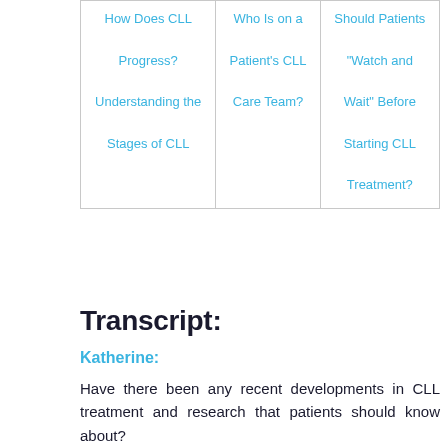| How Does CLL Progress? Understanding the Stages of CLL | Who Is on a Patient's CLL Care Team? | Should Patients “Watch and Wait” Before Starting CLL Treatment? |
Transcript:
Katherine:
Have there been any recent developments in CLL treatment and research that patients should know about?
Dr. Davids:
Yeah. We could spend a few hours on this, but